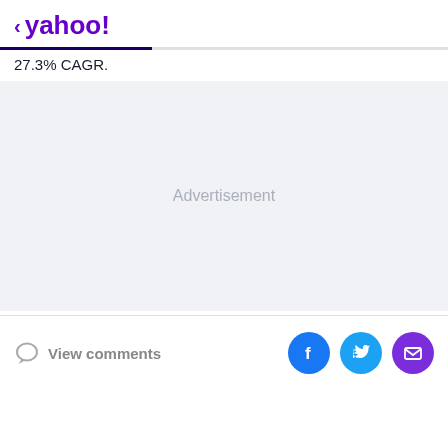< yahoo!
27.3% CAGR.
[Figure (other): Advertisement placeholder area with light blue-grey background and centered 'Advertisement' label]
View comments | Share on Facebook | Share on Twitter | Share via Email